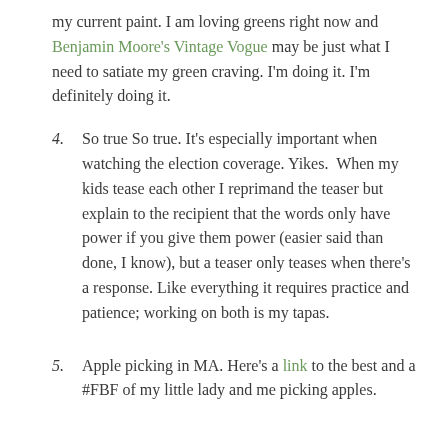my current paint. I am loving greens right now and Benjamin Moore's Vintage Vogue may be just what I need to satiate my green craving. I'm doing it. I'm definitely doing it.
4. So true So true. It's especially important when watching the election coverage. Yikes. When my kids tease each other I reprimand the teaser but explain to the recipient that the words only have power if you give them power (easier said than done, I know), but a teaser only teases when there's a response. Like everything it requires practice and patience; working on both is my tapas.
5. Apple picking in MA. Here's a link to the best and a #FBF of my little lady and me picking apples.